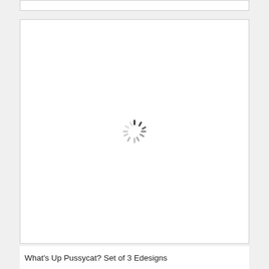[Figure (screenshot): A loading spinner (throbber) centered in a white card area, indicating content is loading.]
What's Up Pussycat? Set of 3 Edesigns